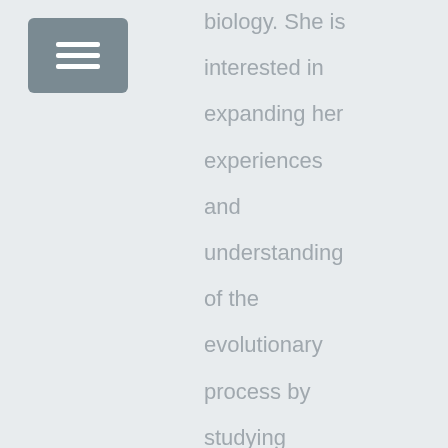[Figure (other): Navigation menu button icon with three horizontal lines (hamburger menu) on a grey background]
biology. She is interested in expanding her experiences and understanding of the evolutionary process by studying bacteria-phage interactions, digital organisms,